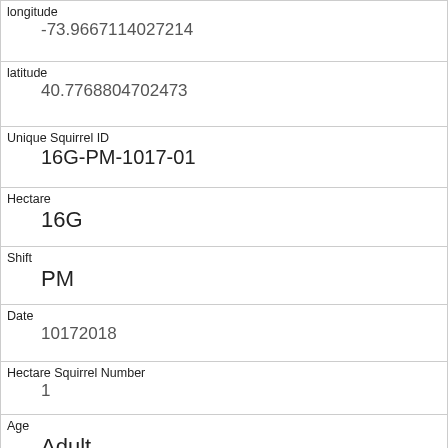| longitude | -73.9667114027214 |
| latitude | 40.7768804702473 |
| Unique Squirrel ID | 16G-PM-1017-01 |
| Hectare | 16G |
| Shift | PM |
| Date | 10172018 |
| Hectare Squirrel Number | 1 |
| Age | Adult |
| Primary Fur Color | Gray |
| Highlight Fur Color | Cinnamon, White |
| Combination of Primary and Highlight Color |  |